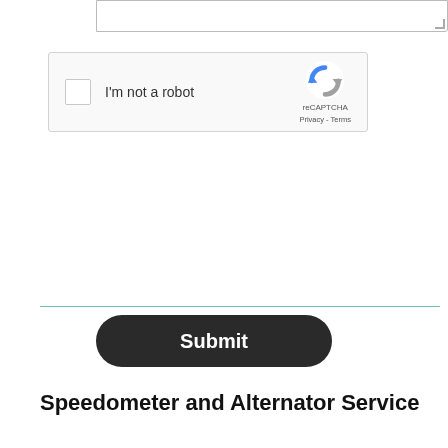[Figure (screenshot): Partial textarea input field at top of page with resize handle]
[Figure (screenshot): reCAPTCHA widget with checkbox labeled 'I'm not a robot' and reCAPTCHA logo with Privacy and Terms links]
[Figure (screenshot): Submit button, dark rounded rectangle with white bold text 'Submit']
Speedometer and Alternator Service